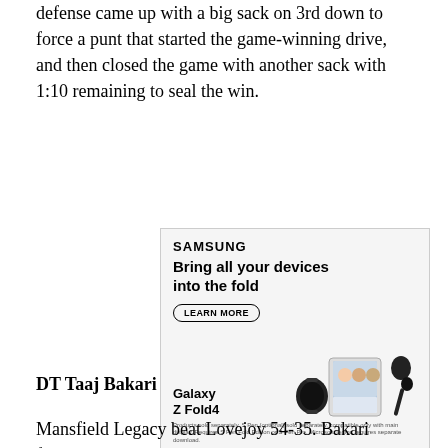defense came up with a big sack on 3rd down to force a punt that started the game-winning drive, and then closed the game with another sack with 1:10 remaining to seal the win.
[Figure (other): Samsung advertisement for Galaxy Z Fold4. Headline: 'Bring all your devices into the fold'. Learn More button. Shows Galaxy Z Fold4 with smartwatch, earbuds, stylus, and a foldable phone displaying a video call. Disclaimer text about products sold separately.]
DT Taaj Bakari
Mansfield Legacy beat Lovejoy 54-35. Bakari finished